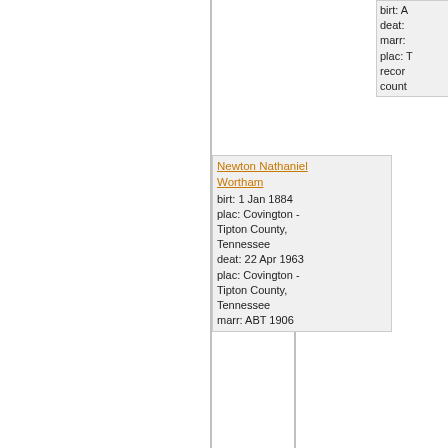[Figure (other): Genealogy/family tree chart showing ancestor boxes for Newton Nathaniel Wortham, Ruth Jane Curtiss, Newton Curtiss (partial), Delila Kelly (partial), and an unnamed ancestor (partial top-right). Connected by horizontal and vertical lines.]
Newton Nathaniel Wortham
birt: 1 Jan 1884
plac: Covington - Tipton County, Tennessee
deat: 22 Apr 1963
plac: Covington - Tipton County, Tennessee
marr: ABT 1906
Ruth Jane Curtiss
birt: 13 Jun 1861
plac: Lamar county, Texas
deat: 23 Mar 1934
plac: Covington - Tipton County, Tennessee
marr: 1 Jul 1875
plac: Nashville - Davidson county, Tennessee
Newton Curtiss
birt: A
plac: L
deat:
marr:
Delila Kelly
birt: 5
plac: L
Lama
birt: A
deat:
marr:
plac: T
recor
county